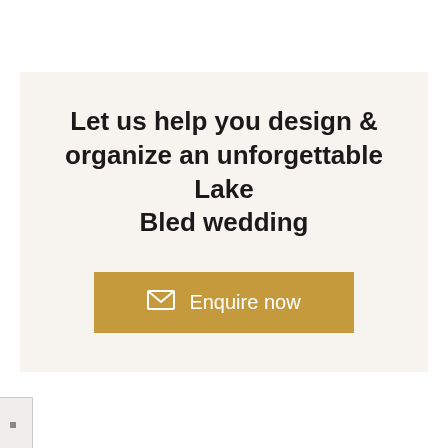Let us help you design & organize an unforgettable Lake Bled wedding
[Figure (other): Gold button with envelope icon and text 'Enquire now']